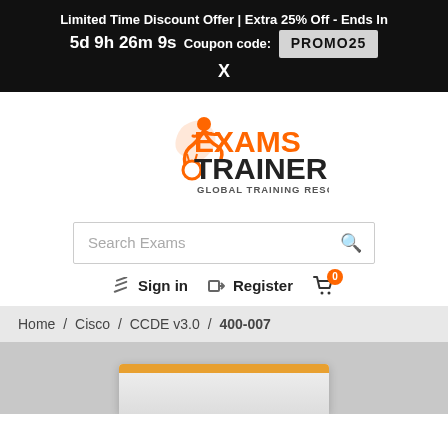Limited Time Discount Offer | Extra 25% Off - Ends In 5d 9h 26m 9s  Coupon code: PROMO25
X
[Figure (logo): Exams Trainer logo with orange figure and text EXAMS TRAINER GLOBAL TRAINING RESOURCE]
Search Exams
Sign in  Register  (cart icon with 0 badge)
Home /  Cisco /  CCDE v3.0 /  400-007
[Figure (photo): Product box with orange top edge on grey background]